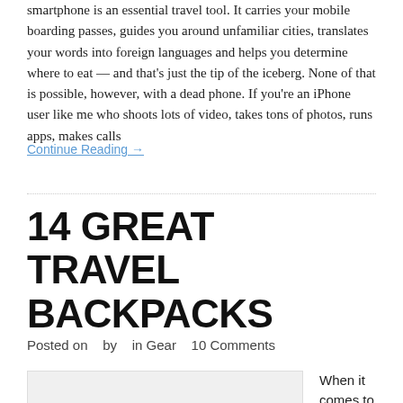smartphone is an essential travel tool. It carries your mobile boarding passes, guides you around unfamiliar cities, translates your words into foreign languages and helps you determine where to eat — and that's just the tip of the iceberg. None of that is possible, however, with a dead phone. If you're an iPhone user like me who shoots lots of video, takes tons of photos, runs apps, makes calls
Continue Reading →
14 GREAT TRAVEL BACKPACKS
Posted on   by   in Gear   10 Comments
[Figure (photo): Partial image of a travel backpack at bottom of page]
When it comes to